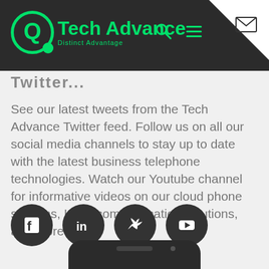[Figure (logo): Tech Advance logo with green circular Q mark and text 'Tech Advance / Distinct Advantage' on dark header bar with search, menu, and email icons]
Twitter...
See our latest tweets from the Tech Advance Twitter feed. Follow us on all our social media channels to stay up to date with the latest business telephone technologies. Watch our Youtube channel for informative videos on our cloud phone systems, Unify communication solutions, and more.
[Figure (illustration): Four social media icon buttons (Facebook, LinkedIn, Twitter, YouTube) as white icons on dark circular backgrounds]
[Figure (photo): Partial view of a smartphone bottom edge with notch cutout, dark bezel]